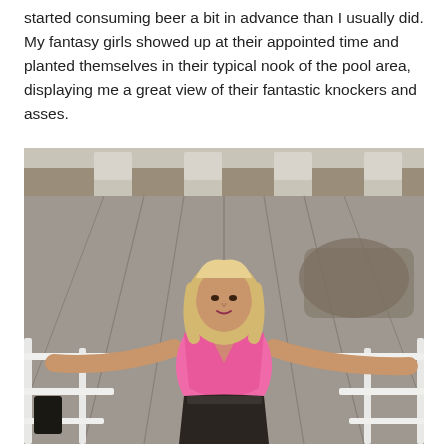started consuming beer a bit in advance than I usually did. My fantasy girls showed up at their appointed time and planted themselves in their typical nook of the pool area, displaying me a great view of their fantastic knockers and asses.
[Figure (photo): A blonde woman in a pink top and dark skirt posing on an outdoor staircase with white railings, with a rooftop and gravel background.]